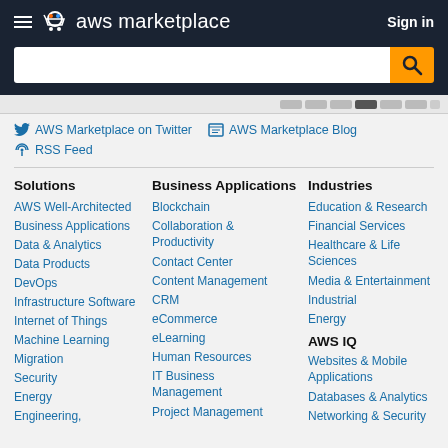aws marketplace | Sign in
AWS Marketplace on Twitter
AWS Marketplace Blog
RSS Feed
Solutions
AWS Well-Architected
Business Applications
Data & Analytics
Data Products
DevOps
Infrastructure Software
Internet of Things
Machine Learning
Migration
Security
Energy
Engineering,
Business Applications
Blockchain
Collaboration & Productivity
Contact Center
Content Management
CRM
eCommerce
eLearning
Human Resources
IT Business Management
Project Management
Industries
Education & Research
Financial Services
Healthcare & Life Sciences
Media & Entertainment
Industrial
Energy
AWS IQ
Websites & Mobile Applications
Databases & Analytics
Networking & Security